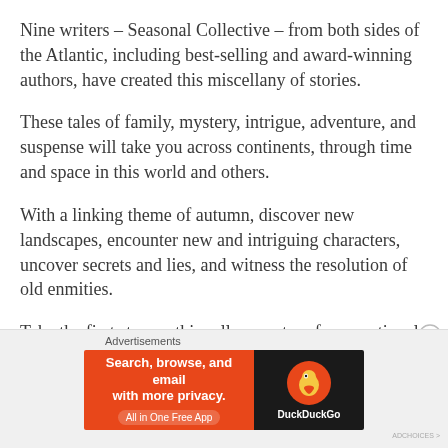Nine writers – Seasonal Collective – from both sides of the Atlantic, including best-selling and award-winning authors, have created this miscellany of stories.
These tales of family, mystery, intrigue, adventure, and suspense will take you across continents, through time and space in this world and others.
With a linking theme of autumn, discover new landscapes, encounter new and intriguing characters, uncover secrets and lies, and witness the resolution of old enmities.
Take the first step on this roller-coaster of an emotional journey, and you won't be disappointed.
Advertisements
[Figure (other): DuckDuckGo advertisement banner: orange left section with text 'Search, browse, and email with more privacy. All in One Free App', black right section with DuckDuckGo duck logo and brand name.]